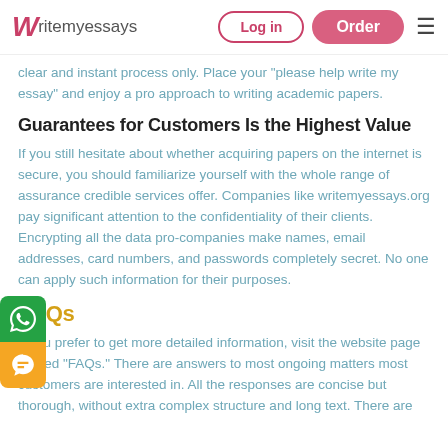Writemyessays | Log in | Order
clear and instant process only. Place your "please help write my essay" and enjoy a pro approach to writing academic papers.
Guarantees for Customers Is the Highest Value
If you still hesitate about whether acquiring papers on the internet is secure, you should familiarize yourself with the whole range of assurance credible services offer. Companies like writemyessays.org pay significant attention to the confidentiality of their clients. Encrypting all the data pro-companies make names, email addresses, card numbers, and passwords completely secret. No one can apply such information for their purposes.
FAQs
If you prefer to get more detailed information, visit the website page named "FAQs." There are answers to most ongoing matters most customers are interested in. All the responses are concise but thorough, without extra complex structure and long text. There are